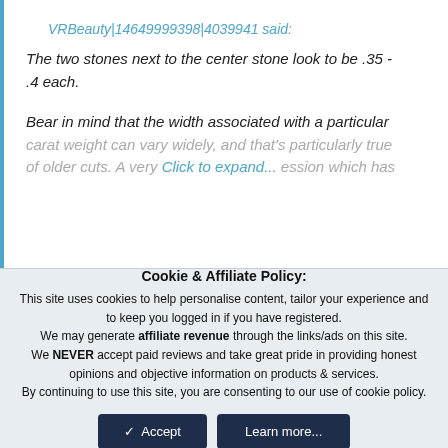VRBeauty|14649999398|4039941 said:
The two stones next to the center stone look to be .35 - .4 each.
Bear in mind that the width associated with a particular carat weight can vary widely, and that's particularly true of older cuts. A very... Click to expand...
Cookie & Affiliate Policy: This site uses cookies to help personalise content, tailor your experience and to keep you logged in if you have registered. We may generate affiliate revenue through the links/ads on this site. We NEVER accept paid reviews and take great pride in providing honest opinions and objective information on products & services. By continuing to use this site, you are consenting to our use of cookie policy.